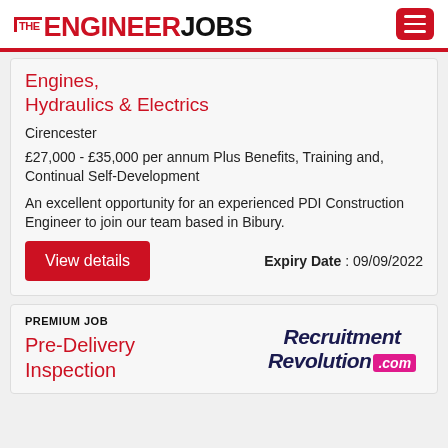THE ENGINEER JOBS
Engines, Hydraulics & Electrics
Cirencester
£27,000 - £35,000 per annum Plus Benefits, Training and, Continual Self-Development
An excellent opportunity for an experienced PDI Construction Engineer to join our team based in Bibury.
Expiry Date : 09/09/2022
View details
PREMIUM JOB
Pre-Delivery Inspection
[Figure (logo): Recruitment Revolution .com logo in navy italic text with pink .com badge]